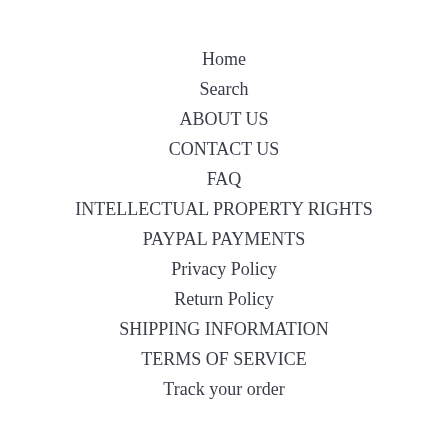Home
Search
ABOUT US
CONTACT US
FAQ
INTELLECTUAL PROPERTY RIGHTS
PAYPAL PAYMENTS
Privacy Policy
Return Policy
SHIPPING INFORMATION
TERMS OF SERVICE
Track your order